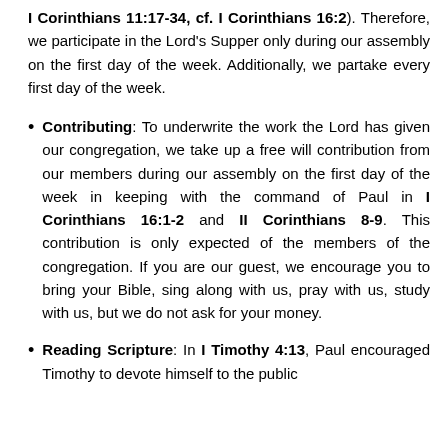I Corinthians 11:17-34, cf. I Corinthians 16:2). Therefore, we participate in the Lord's Supper only during our assembly on the first day of the week. Additionally, we partake every first day of the week.
Contributing: To underwrite the work the Lord has given our congregation, we take up a free will contribution from our members during our assembly on the first day of the week in keeping with the command of Paul in I Corinthians 16:1-2 and II Corinthians 8-9. This contribution is only expected of the members of the congregation. If you are our guest, we encourage you to bring your Bible, sing along with us, pray with us, study with us, but we do not ask for your money.
Reading Scripture: In I Timothy 4:13, Paul encouraged Timothy to devote himself to the public